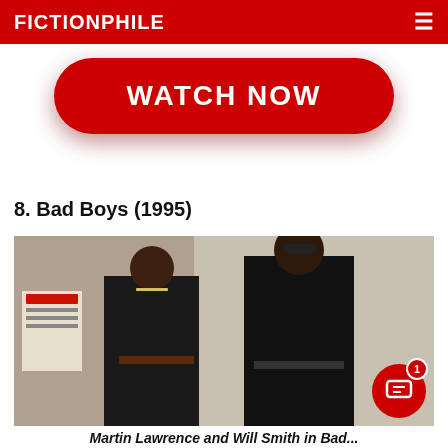FICTIONPHILE
[Figure (other): Red rounded rectangle button with white bold text reading WATCH NOW]
8. Bad Boys (1995)
[Figure (photo): Photo of Martin Lawrence and Will Smith in Bad Boys (1995), standing in front of a wall, both wearing black outfits with shoulder holsters]
Martin Lawrence and Will Smith in Bad...